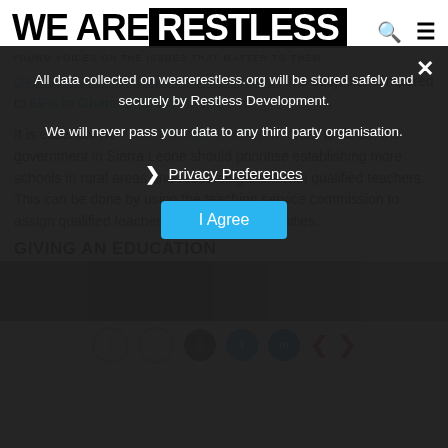WE ARE RESTLESS — YOUNG VOICES ON THE ISSUES THAT MATTER TO THEM.
chains leave secondary school with passes in 5 subjects, compared to 69% in Ghana and 66% in Nigeria.
It is essential we make this right a reality. In order to do so, the government in Sierra Leone should prioritise establishing more schools in rural areas and resourcing them with qualified teachers. This can be done by using the teaching service commission to assign qualified teachers to various communities.
GIVING AN EDUCATION
[Figure (photo): Dark image strip showing a person, partially visible]
All data collected on wearerestless.org will be stored safely and securely by Restless Development.

We will never pass your data to any third party organisation.
Privacy Preferences
I Agree